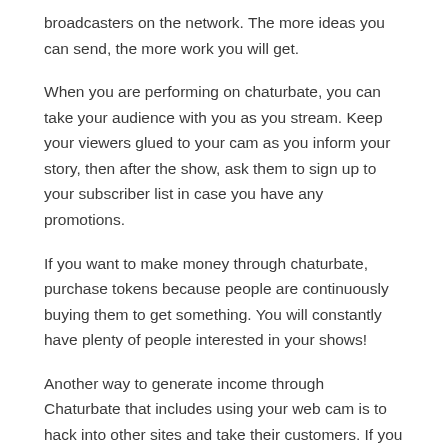broadcasters on the network. The more ideas you can send, the more work you will get.
When you are performing on chaturbate, you can take your audience with you as you stream. Keep your viewers glued to your cam as you inform your story, then after the show, ask them to sign up to your subscriber list in case you have any promotions.
If you want to make money through chaturbate, purchase tokens because people are continuously buying them to get something. You will constantly have plenty of people interested in your shows!
Another way to generate income through Chaturbate that includes using your web cam is to hack into other sites and take their customers. If you can discover websites that are promoting comparable things as yours but are not paying out much cash, you can hack into their site and take the followers for free. If you do not wish to hack somebody else 's website, you can offer to give them